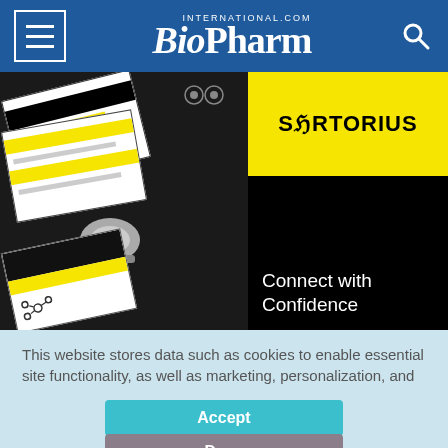BioPharm International
[Figure (photo): Sartorius advertisement showing pharmaceutical documents with yellow and black design elements and a robotic arm on the left side, and the Sartorius logo with 'Connect with Confidence' text on the right side against a black background.]
This website stores data such as cookies to enable essential site functionality, as well as marketing, personalization, and analytics. Cookie Policy
Accept
Deny